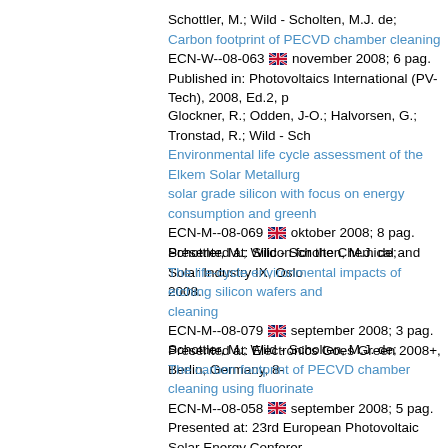Schottler, M.; Wild - Scholten, M.J. de;
Carbon footprint of PECVD chamber cleaning
ECN-W--08-063 [flag] november 2008; 6 pag.
Published in: Photovoltaics International (PV-Tech), 2008, Ed.2, p
Glockner, R.; Odden, J-O.; Halvorsen, G.; Tronstad, R.; Wild - Sch
Environmental life cycle assessment of the Elkem Solar Metallurg solar grade silicon with focus on energy consumption and greenh
ECN-M--08-069 [flag] oktober 2008; 8 pag.
Presented at: Silicon for the Chemical and Solar Industry IX, Oslo 2008.
Schottler, M.; Wild - Scholten, M.J. de;
The life-cycle environmental impacts of etching silicon wafers and cleaning
ECN-M--08-079 [flag] september 2008; 3 pag.
Presented at: Electronics Goes Green 2008+, Berlin, Germany, 8-
Schottler, M.; Wild - Scholten, M.J. de;
The carbon footprint of PECVD chamber cleaning using fluorinate
ECN-M--08-058 [flag] september 2008; 5 pag.
Presented at: 23rd European Photovoltaic Solar Energy Confere Valencia, Spain, 1-5 september 2008.